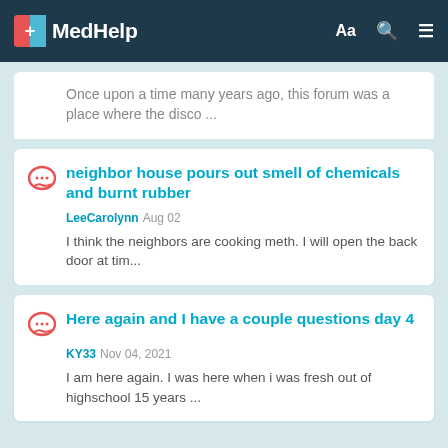MedHelp
Once upon a time many years ago, this forum was a place where the disco ...
neighbor house pours out smell of chemicals and burnt rubber
LeeCarolynn Aug 02
I think the neighbors are cooking meth. I will open the back door at tim...
Here again and I have a couple questions day 4
KY33 Nov 04, 2021
I am here again. I was here when i was fresh out of highschool 15 years ...